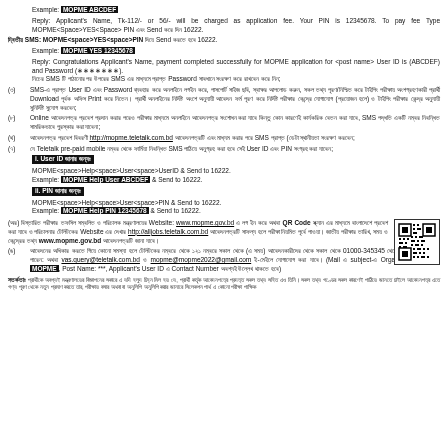Example: MOPME ABCDEF
Reply: Applicant's Name, Tk-112/- or 56/- will be charged as application fee. Your PIN is 12345678. To pay fee Type MOPME<Space>YES<Space> PIN এবং Send করে দিন 16222.
দ্বিতীয় SMS: MOPME<space>YES<space>PIN দিয়ে Send করতে হবে 16222. Example: MOPME YES 12345678
Reply: Congratulations Applicant's Name, payment completed successfully for MOPME application for <post name> User ID is (ABCDEF) and Password (*******).
নিচের SMS টি পাঠানোর পর উপরের SMS এর মাধ্যমে প্রাপ্ত Password সাবধানে সংরক্ষণ করে রাখবেন করে নিন;
(৩) SMS-এ প্রাপ্ত User ID এবং Password ব্যবহার করে অনলাইনে লগইন করে, পাসপোর্ট সাইজ ছবি, স্বাক্ষর আপলোড করুন, সকল তথ্য পূরণ/নিশ্চিত করে টাইপিং পরীক্ষায় অংশগ্রহণকারী প্রার্থী Download পূর্বক অফিস Print করে নিতেন। প্রার্থী অনলাইনের নির্দিষ্ট অংশে অনুযায়ী আবেদন ফর্ম পূরণ করে নির্দিষ্ট পরীক্ষার কেন্দ্রে যোগাযোগ (প্রয়োজন হলে) ও টাইপিং পরীক্ষার কেন্দ্র অনুযায়ী সুনির্দিষ্ট সুযোগ করবেন;
(৮) Online আবেদনপত্র প্রবেশ প্রদান করার পরেও পরীক্ষার মাধ্যমে অনলাইনে আবেদনপত্র সংশোধন করা যাবে কিন্তু কোন কারণেই কার্যকরিক বেতন করা যাবে, SMS পদ্ধতি একটি নম্বর নিবন্ধিত সামরিকভাবে পুরস্কার করা যাবেনা;
(থ) আবেদনপত্র প্রবেশ বিবরণী http://mopme.teletalk.com.bd আবেদনপত্রটি এবং মাধ্যম করার পরে SMS প্রাপ্ত (ডেটা স্থানীয়তা সংরক্ষণ করবেন;
(৭) যে Teletalk pre-paid mobile নম্বর থেকে ফার্মিয়া নিবন্ধিত SMS পাঠিয়ে অনুগ্রহ করা হবে সেই User ID এবং PIN সংগ্রহ করা যাবেন;
i. User ID জানার জন্যঃ
MOPME<space>Help<space>User<space>UserID & Send to 16222.
Example: MOPME Help User ABCDEF & Send to 16222.
ii. PIN জানার জন্যঃ
MOPME<space>Help<space>User<space>PIN & Send to 16222.
Example: MOPME Help PIN 12345678 & Send to 16222.
(অর) বিস্তারিত পরীক্ষার তফসিল সম্বলিত ও পরিচালক মন্ত্রণালয়ের Website: www.mopme.gov.bd এ লগ ইন করে অথবা QR Code স্ক্যান এর মাধ্যমে বাংলাদেশে প্রবেশ করা যাবে ও পরিচালনার টেলিটকের Website এর দেখার http://alljobs.teletalk.com.bd আবেদনপত্রটি সাফল্য হলে পরীক্ষা নিয়মিত পূর্বে পাওয়া। জাতীয় পরীক্ষার তারিখ, সময় ও কেন্দ্রের তথ্য www.mopme.gov.bd আবেদনপত্রটি জানা যাবে।
(ঙ) আবেদনের অধিকার করতে গিয়ে কোনো সমস্যা হলে টেলিটকের নম্বরে থেকে ১২১ নম্বরে সকাল থেকে (এ সময়) আবেদনকারীদের থেকে সকাল থেকে 01000-345345 থেকে অথবা অথবা করতে পারেন: অথবা vas.query@teletalk.com.bd ও mopme@mopme2022@gmail.com ই-মেইলে যোগাযোগ করা যাবে। (Mail এ subject-এ Organization Name: MOPME, Post Name: ***, Applicant's User ID এ Contact Number অবশ্যই উল্লেখ থাকতে হবে)
সতর্কতাঃ প্রার্থীকে অবশ্যই মন্ত্রণালয়ের বিজ্ঞাপনের সকারে এ যদি হলুদ চিহ্ন মিল হয় যে, প্রার্থী কর্তৃক আবেদনপত্রে প্রদত্ত সকল তথ্য সহিত এও তিনি। সকল তথ্য গণ্ডের সকল কারণেই পাঠিয়ে জানতে চাইলে আবেদনপত্র এতে গণ্য পূরণ থেকে নতুন প্রমাণ করতে তার, পরীক্ষায় বসার অথবা বা অনুলিপি অনুলিপি করার জানারে সিলেকশন পার্থ এ কোনো পরীক্ষা পাক্ষিক